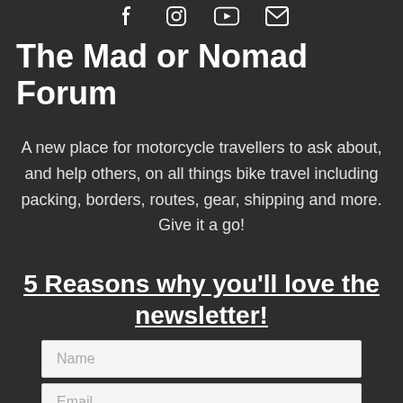[Figure (illustration): Row of social media icons (Facebook, Instagram, YouTube, email/envelope) in white on dark background]
The Mad or Nomad Forum
A new place for motorcycle travellers to ask about, and help others, on all things bike travel including packing, borders, routes, gear, shipping and more. Give it a go!
5 Reasons why you'll love the newsletter!
Name (input field)
Email (input field)
Subscribe (button)